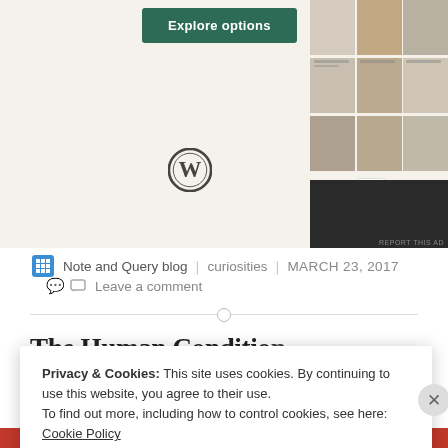[Figure (screenshot): Website advertisement showing WordPress and Squarespace logos with 'Explore options' button and food photography collage on right side]
Note and Query blog | curiosities | MARCH 23, 2017
Leave a comment
The Human Condition
Privacy & Cookies: This site uses cookies. By continuing to use this website, you agree to their use.
To find out more, including how to control cookies, see here: Cookie Policy
Close and accept